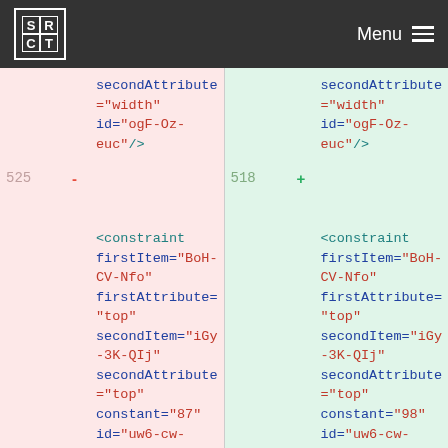SRCT Menu
secondAttribute ="width" id="ogF-Oz-euc"/> (left, line 525 area, cut off top)
secondAttribute ="width" id="ogF-Oz-euc"/> (right, line 518 area, cut off top)
525 - (removed block)
518 + <constraint firstItem="BoH-CV-Nfo" firstAttribute="top" secondItem="iGy-3K-QIj" secondAttribute="top" constant="87" id="uw6-cw-Ojt"/>
<constraint firstItem="BoH-CV-Nfo" firstAttribute="top" secondItem="iGy-3K-QIj" secondAttribute="top" constant="98" id="uw6-cw-Ojt"/>
526 / 519 (bottom line numbers)